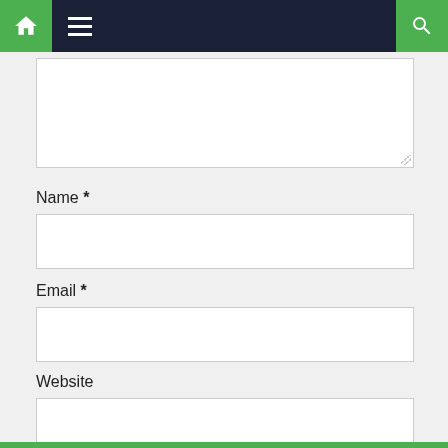[Figure (screenshot): Website navigation bar with green home icon on left, dark navy hamburger menu in center, and green search icon on right]
Name *
Email *
Website
Post Comment